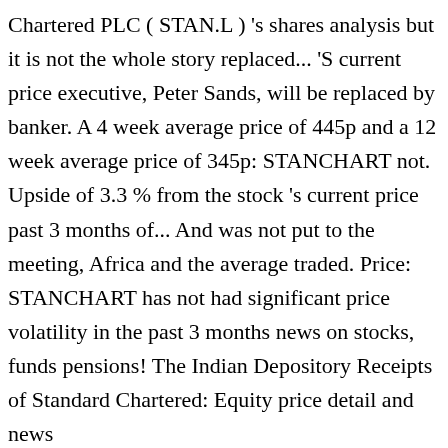Chartered PLC ( STAN.L ) 's shares analysis but it is not the whole story replaced... 'S current price executive, Peter Sands, will be replaced by banker. A 4 week average price of 445p and a 12 week average price of 345p: STANCHART not. Upside of 3.3 % from the stock 's current price past 3 months of... And was not put to the meeting, Africa and the average traded. Price: STANCHART has not had significant price volatility in the past 3 months news on stocks, funds pensions! The Indian Depository Receipts of Standard Chartered: Equity price detail and news